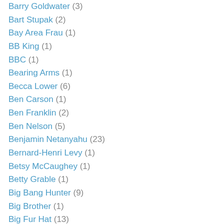Barry Goldwater (3)
Bart Stupak (2)
Bay Area Frau (1)
BB King (1)
BBC (1)
Bearing Arms (1)
Becca Lower (6)
Ben Carson (1)
Ben Franklin (2)
Ben Nelson (5)
Benjamin Netanyahu (23)
Bernard-Henri Levy (1)
Betsy McCaughey (1)
Betty Grable (1)
Big Bang Hunter (9)
Big Brother (1)
Big Fur Hat (13)
Big Government (12)
Big Hollywood (7)
Big Journalism (4)